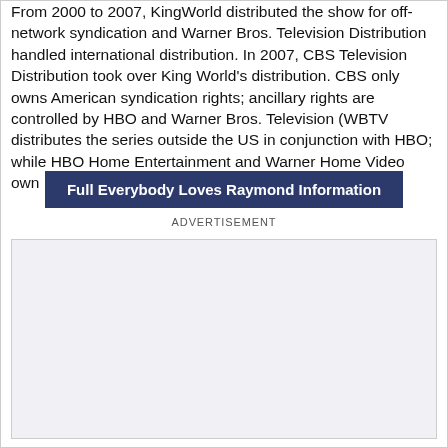From 2000 to 2007, KingWorld distributed the show for off-network syndication and Warner Bros. Television Distribution handled international distribution. In 2007, CBS Television Distribution took over King World's distribution. CBS only owns American syndication rights; ancillary rights are controlled by HBO and Warner Bros. Television (WBTV distributes the series outside the US in conjunction with HBO; while HBO Home Entertainment and Warner Home Video own DVD rights worldwide).
Full Everybody Loves Raymond Information
ADVERTISEMENT